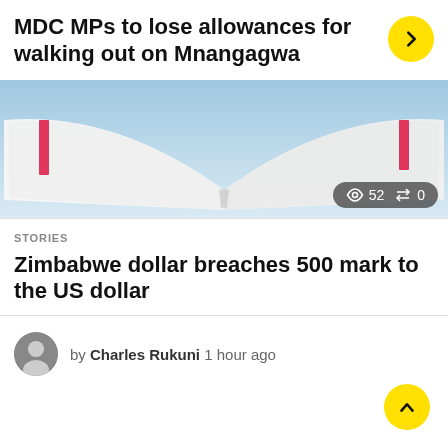MDC MPs to lose allowances for walking out on Mnangagwa
[Figure (photo): Close-up photo of open book pages with pink/magenta bookmark ribbons, light blue sky background. Stats badge shows eye icon 52 and sort icon 0.]
STORIES
Zimbabwe dollar breaches 500 mark to the US dollar
by Charles Rukuni 1 hour ago